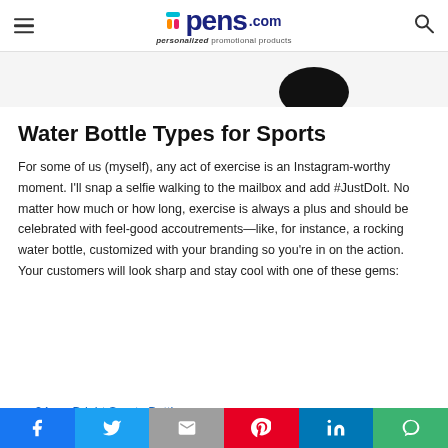pens.com — personalized promotional products
[Figure (photo): Partial view of a dark water bottle product image at the top of the page]
Water Bottle Types for Sports
For some of us (myself), any act of exercise is an Instagram-worthy moment. I'll snap a selfie walking to the mailbox and add #JustDoIt. No matter how much or how long, exercise is always a plus and should be celebrated with feel-good accoutrements—like, for instance, a rocking water bottle, customized with your branding so you're in on the action. Your customers will look sharp and stay cool with one of these gems:
24 oz. Bright Sports Bottle
[Figure (infographic): Social sharing bar at the bottom with Facebook, Twitter, Gmail, Pinterest, LinkedIn, and Line buttons]